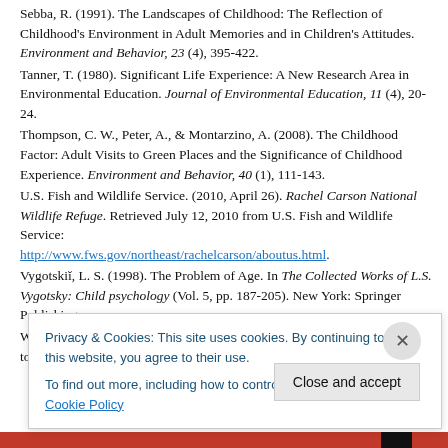Sebba, R. (1991). The Landscapes of Childhood: The Reflection of Childhood's Environment in Adult Memories and in Children's Attitudes. Environment and Behavior, 23 (4), 395-422.
Tanner, T. (1980). Significant Life Experience: A New Research Area in Environmental Education. Journal of Environmental Education, 11 (4), 20-24.
Thompson, C. W., Peter, A., & Montarzino, A. (2008). The Childhood Factor: Adult Visits to Green Places and the Significance of Childhood Experience. Environment and Behavior, 40 (1), 111-143.
U.S. Fish and Wildlife Service. (2010, April 26). Rachel Carson National Wildlife Refuge. Retrieved July 12, 2010 from U.S. Fish and Wildlife Service: http://www.fws.gov/northeast/rachelcarson/aboutus.html.
Vygotskiĭ, L. S. (1998). The Problem of Age. In The Collected Works of L.S. Vygotsky: Child psychology (Vol. 5, pp. 187-205). New York: Springer Publishing.
White, R. (2006). Young Children's Relationship with Nature: Its Importance to
Privacy & Cookies: This site uses cookies. By continuing to use this website, you agree to their use. To find out more, including how to control cookies, see here: Cookie Policy